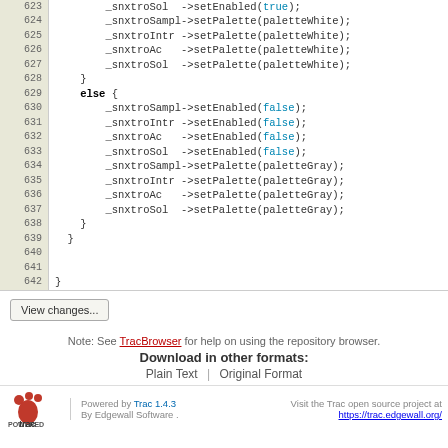Code listing lines 623-642 showing C++ source code with setEnabled and setPalette calls
View changes...
Note: See TracBrowser for help on using the repository browser.
Download in other formats: Plain Text | Original Format
Powered by Trac 1.4.3 By Edgewall Software. Visit the Trac open source project at https://trac.edgewall.org/